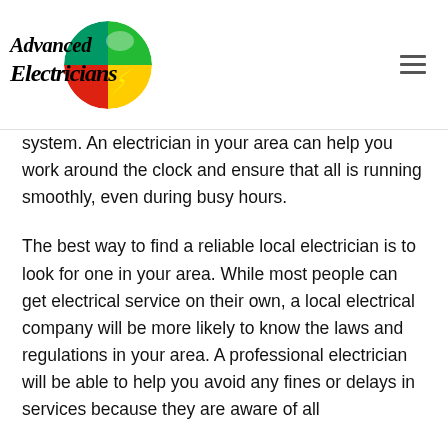Advanced Electricians
system. An electrician in your area can help you work around the clock and ensure that all is running smoothly, even during busy hours.
The best way to find a reliable local electrician is to look for one in your area. While most people can get electrical service on their own, a local electrical company will be more likely to know the laws and regulations in your area. A professional electrician will be able to help you avoid any fines or delays in services because they are aware of all